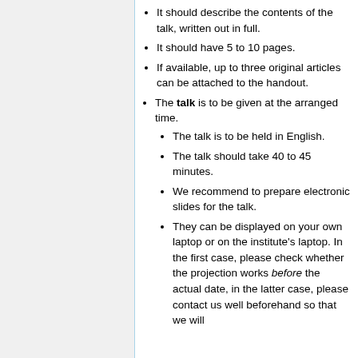It should describe the contents of the talk, written out in full.
It should have 5 to 10 pages.
If available, up to three original articles can be attached to the handout.
The talk is to be given at the arranged time.
The talk is to be held in English.
The talk should take 40 to 45 minutes.
We recommend to prepare electronic slides for the talk.
They can be displayed on your own laptop or on the institute's laptop. In the first case, please check whether the projection works before the actual date, in the latter case, please contact us well beforehand so that we will